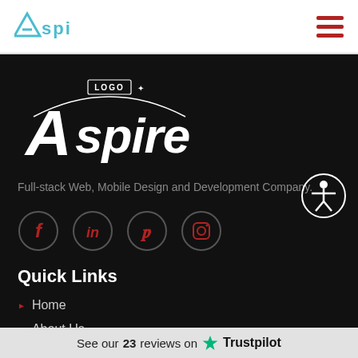[Figure (logo): Aspi logo in teal/cyan color in the top left of the header]
[Figure (logo): Hamburger menu icon (three red horizontal bars) in the top right of the header]
[Figure (logo): Aspire logo in white text on dark background with arc swoosh and LOGO text badge]
Full-stack Web, Mobile Design and Development Company.
[Figure (infographic): Row of four social media icons (Facebook, LinkedIn, Pinterest, Instagram) as dark circles with dark red icons and circular borders]
[Figure (illustration): Accessibility icon - circular badge with stick figure person symbol]
Quick Links
Home
About Us
Packages
See our 23 reviews on ★ Trustpilot